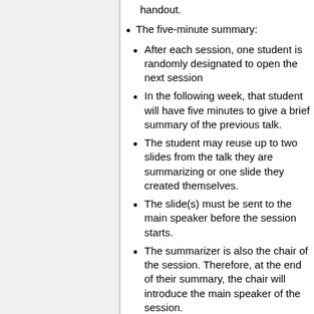handout.
The five-minute summary:
After each session, one student is randomly designated to open the next session
In the following week, that student will have five minutes to give a brief summary of the previous talk.
The student may reuse up to two slides from the talk they are summarizing or one slide they created themselves.
The slide(s) must be sent to the main speaker before the session starts.
The summarizer is also the chair of the session. Therefore, at the end of their summary, the chair will introduce the main speaker of the session.